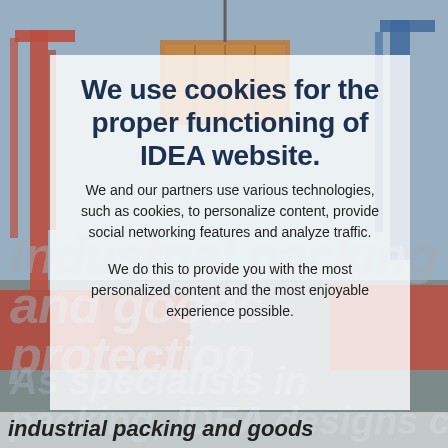[Figure (photo): Industrial shipping port with large red cranes and cargo containers being lifted, viewed from below against a blue sky.]
We use cookies for the proper functioning of IDEA website.
We and our partners use various technologies, such as cookies, to personalize content, provide social networking features and analyze traffic.
We do this to provide you with the most personalized content and the most enjoyable experience possible.
Industrial packing and goods protection
As specialists in packing, IDEA designs custom industrial packing and goods